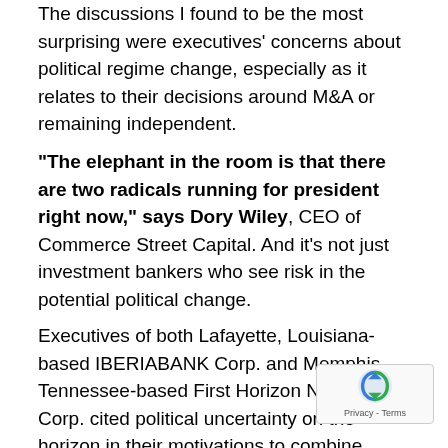The discussions I found to be the most surprising were executives' concerns about political regime change, especially as it relates to their decisions around M&A or remaining independent.
"The elephant in the room is that there are two radicals running for president right now," says Dory Wiley, CEO of Commerce Street Capital. And it's not just investment bankers who see risk in the potential political change.
Executives of both Lafayette, Louisiana-based IBERIABANK Corp. and Memphis, Tennessee-based First Horizon National Corp. cited political uncertainty on the horizon in their motivations to combine through a merger of equals, which was announced in November 2019. Daryl Byrd, IBERIA's current president and C... says the $31.7 billion bank saw the potential for po... risk evolving into economic risk at a time when